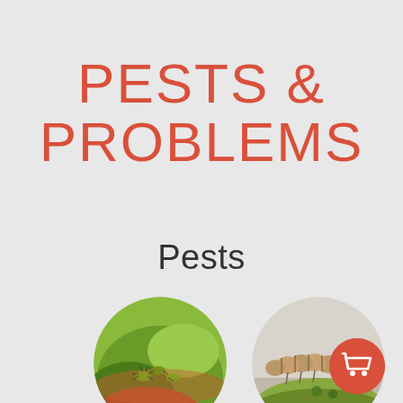PESTS & PROBLEMS
Pests
[Figure (photo): Circular photo of aphids on a green plant stem]
[Figure (photo): Circular photo of a caterpillar on a green surface]
[Figure (illustration): Red circular shopping cart button icon]